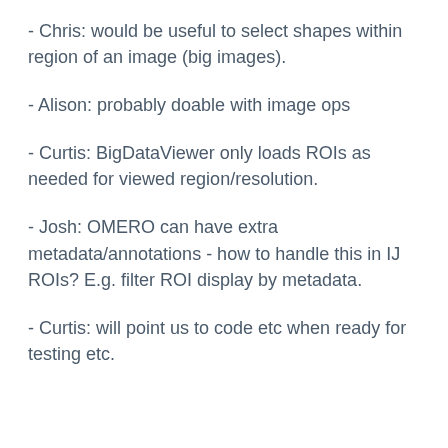- Chris: would be useful to select shapes within region of an image (big images).
- Alison: probably doable with image ops
- Curtis: BigDataViewer only loads ROIs as needed for viewed region/resolution.
- Josh: OMERO can have extra metadata/annotations - how to handle this in IJ ROIs? E.g. filter ROI display by metadata.
- Curtis: will point us to code etc when ready for testing etc.